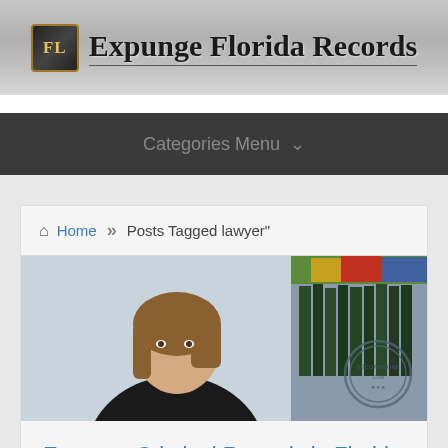[Figure (logo): Expunge Florida Records logo with FL monogram in gold-bordered dark box followed by site name in bold serif text]
Categories Menu ∨
Home >> Posts Tagged lawyer"
[Figure (screenshot): Video thumbnail showing a woman in a dark jacket speaking, with bookshelves and colorful artwork in background, and a RecordGone.com watermark stamp in lower right]
Expunge Criminal Records in Florida Instructions